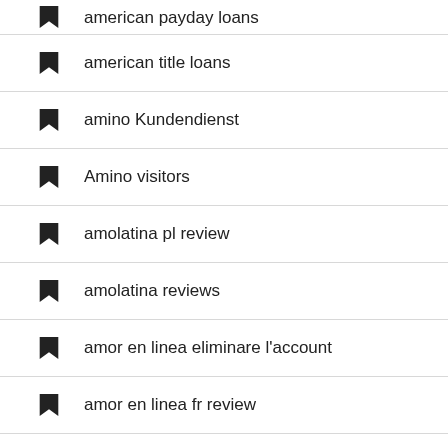american payday loans
american title loans
amino Kundendienst
Amino visitors
amolatina pl review
amolatina reviews
amor en linea eliminare l'account
amor en linea fr review